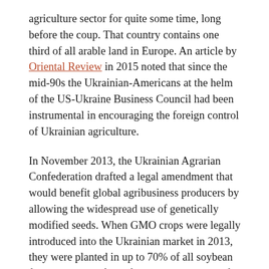agriculture sector for quite some time, long before the coup. That country contains one third of all arable land in Europe. An article by Oriental Review in 2015 noted that since the mid-90s the Ukrainian-Americans at the helm of the US-Ukraine Business Council had been instrumental in encouraging the foreign control of Ukrainian agriculture.
In November 2013, the Ukrainian Agrarian Confederation drafted a legal amendment that would benefit global agribusiness producers by allowing the widespread use of genetically modified seeds. When GMO crops were legally introduced into the Ukrainian market in 2013, they were planted in up to 70% of all soybean fields, 10-20% of cornfields and over 10% of all sunflower fields, according to various estimates (or 3% of the country's total farmland).